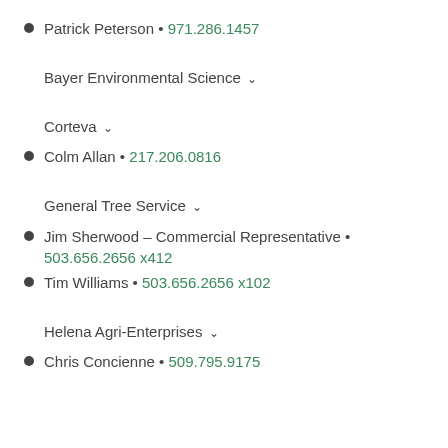Patrick Peterson • 971.286.1457
Bayer Environmental Science
Corteva
Colm Allan • 217.206.0816
General Tree Service
Jim Sherwood – Commercial Representative • 503.656.2656 x412
Tim Williams • 503.656.2656 x102
Helena Agri-Enterprises
Chris Concienne • 509.795.9175